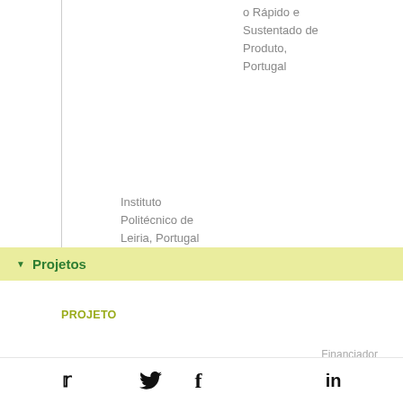o Rápido e Sustentado de Produto, Portugal
Instituto Politécnico de Leiria, Portugal (...)
▼ Projetos
PROJETO
Financiador
Twitter | Facebook | LinkedIn